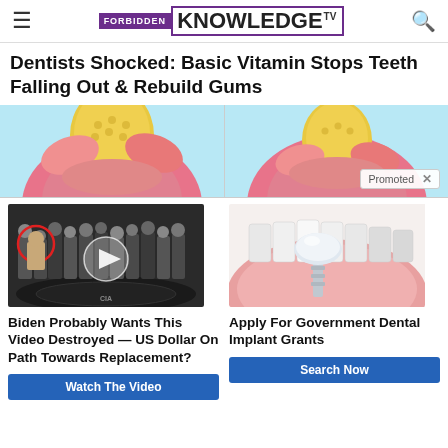FORBIDDEN KNOWLEDGE TV
Dentists Shocked: Basic Vitamin Stops Teeth Falling Out & Rebuild Gums
[Figure (illustration): Split medical illustration showing tooth and gum anatomy, with 'Promoted X' badge overlay]
[Figure (screenshot): Video thumbnail showing group of people in suits at CIA building with play button overlay and red circle on one person]
Biden Probably Wants This Video Destroyed — US Dollar On Path Towards Replacement?
Watch The Video
[Figure (illustration): Medical illustration of dental implant showing white tooth crown with implant post embedded in pink gum tissue]
Apply For Government Dental Implant Grants
Search Now